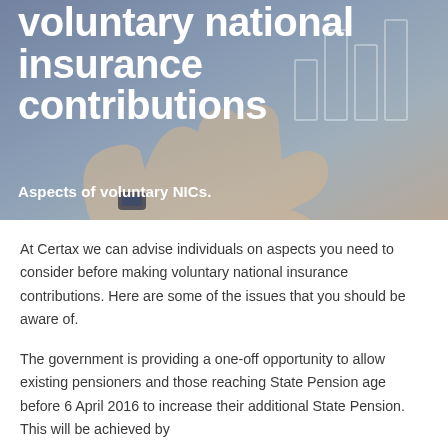voluntary national insurance contributions
Aspects of voluntary NICs.
[Figure (photo): A hand held open with a bar chart graphic overlay on a blue-grey background, representing financial planning or contributions.]
At Certax we can advise individuals on aspects you need to consider before making voluntary national insurance contributions. Here are some of the issues that you should be aware of.
The government is providing a one-off opportunity to allow existing pensioners and those reaching State Pension age before 6 April 2016 to increase their additional State Pension. This will be achieved by